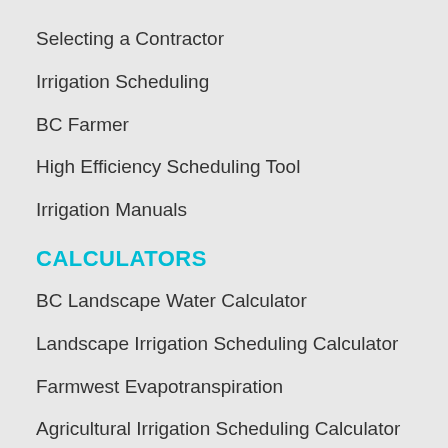Selecting a Contractor
Irrigation Scheduling
BC Farmer
High Efficiency Scheduling Tool
Irrigation Manuals
CALCULATORS
BC Landscape Water Calculator
Landscape Irrigation Scheduling Calculator
Farmwest Evapotranspiration
Agricultural Irrigation Scheduling Calculator
Agriculture Irrigation Water Use Calculator
BC Agriculture Water Calculator